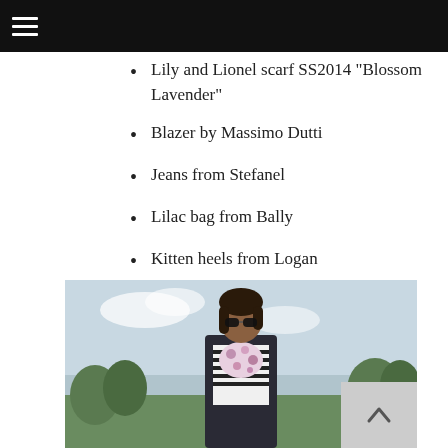Lily and Lionel scarf SS2014 “Blossom Lavender”
Blazer by Massimo Dutti
Jeans from Stefanel
Lilac bag from Bally
Kitten heels from Logan
[Figure (photo): Woman wearing sunglasses, a floral scarf, striped blazer, standing outdoors with trees in the background.]